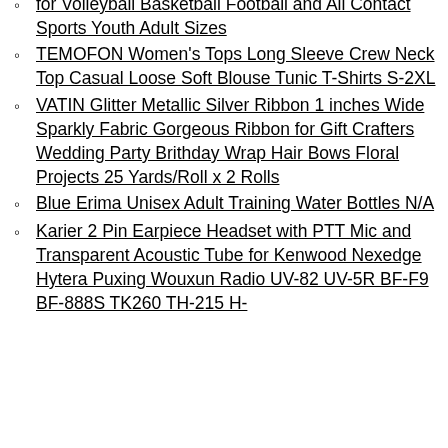for Volleyball Basketball Football and All Contact Sports Youth Adult Sizes
TEMOFON Women's Tops Long Sleeve Crew Neck Top Casual Loose Soft Blouse Tunic T-Shirts S-2XL
VATIN Glitter Metallic Silver Ribbon 1 inches Wide Sparkly Fabric Gorgeous Ribbon for Gift Crafters Wedding Party Brithday Wrap Hair Bows Floral Projects 25 Yards/Roll x 2 Rolls
Blue Erima Unisex Adult Training Water Bottles N/A
Karier 2 Pin Earpiece Headset with PTT Mic and Transparent Acoustic Tube for Kenwood Nexedge Hytera Puxing Wouxun Radio UV-82 UV-5R BF-F9 BF-888S TK260 TH-215 H-